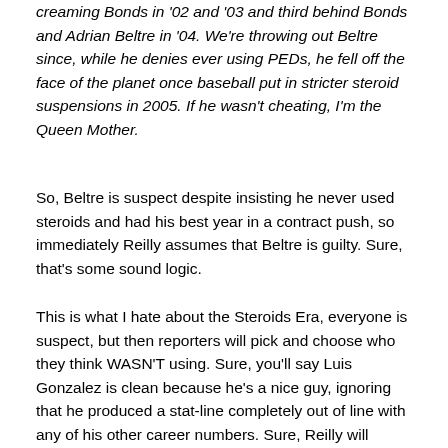creaming Bonds in '02 and '03 and third behind Bonds and Adrian Beltre in '04. We're throwing out Beltre since, while he denies ever using PEDs, he fell off the face of the planet once baseball put in stricter steroid suspensions in 2005. If he wasn't cheating, I'm the Queen Mother.
So, Beltre is suspect despite insisting he never used steroids and had his best year in a contract push, so immediately Reilly assumes that Beltre is guilty. Sure, that's some sound logic.
This is what I hate about the Steroids Era, everyone is suspect, but then reporters will pick and choose who they think WASN'T using. Sure, you'll say Luis Gonzalez is clean because he's a nice guy, ignoring that he produced a stat-line completely out of line with any of his other career numbers. Sure, Reilly will accuse Beltre who hasn't been listed in any steroids talk because he's a surprise...